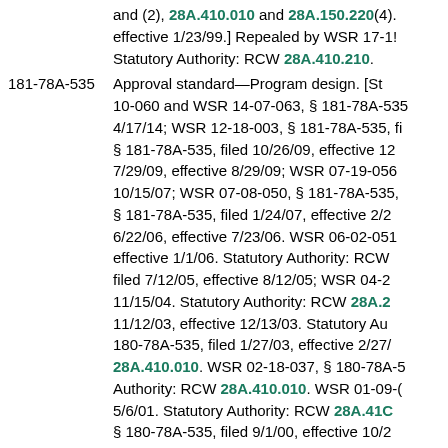and (2), 28A.410.010 and 28A.150.220(4). effective 1/23/99.] Repealed by WSR 17-1! Statutory Authority: RCW 28A.410.210.
181-78A-535 Approval standard—Program design. [St 10-060 and WSR 14-07-063, § 181-78A-535 4/17/14; WSR 12-18-003, § 181-78A-535, fi § 181-78A-535, filed 10/26/09, effective 12 7/29/09, effective 8/29/09; WSR 07-19-056 10/15/07; WSR 07-08-050, § 181-78A-535, § 181-78A-535, filed 1/24/07, effective 2/2 6/22/06, effective 7/23/06. WSR 06-02-051 effective 1/1/06. Statutory Authority: RCW filed 7/12/05, effective 8/12/05; WSR 04-2 11/15/04. Statutory Authority: RCW 28A.2 11/12/03, effective 12/13/03. Statutory Au 180-78A-535, filed 1/27/03, effective 2/27/ 28A.410.010. WSR 02-18-037, § 180-78A-5 Authority: RCW 28A.410.010. WSR 01-09-( 5/6/01. Statutory Authority: RCW 28A.41C § 180-78A-535, filed 9/1/00, effective 10/2 1/14/00, effective 2/14/00. Statutory Auth